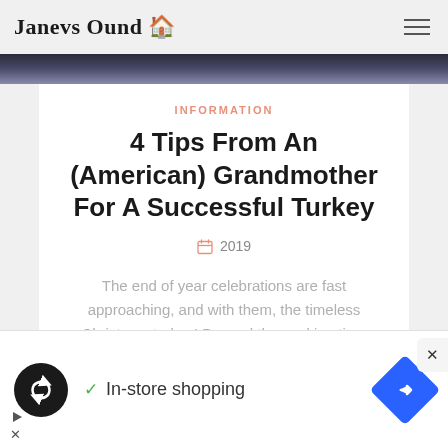Janevs Ound 🏠
[Figure (photo): Dark moody background image strip, dark blue-grey tones]
INFORMATION
4 Tips From An (American) Grandmother For A Successful Turkey
2019
The end of year celebrations are fast approaching, and with them, the timeless Christmas turkey! Beyond the cooking time
[Figure (screenshot): Advertisement banner: black circle logo with loop arrows icon, checkmark with 'In-store shopping' text, blue diamond navigation arrow icon]